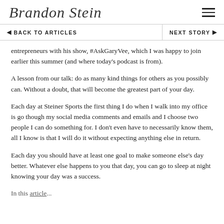Brandon Stein [logo/signature]
◄ BACK TO ARTICLES    NEXT STORY ►
entrepreneurs with his show, #AskGaryVee, which I was happy to join earlier this summer (and where today's podcast is from).
A lesson from our talk: do as many kind things for others as you possibly can. Without a doubt, that will become the greatest part of your day.
Each day at Steiner Sports the first thing I do when I walk into my office is go though my social media comments and emails and I choose two people I can do something for. I don't even have to necessarily know them, all I know is that I will do it without expecting anything else in return.
Each day you should have at least one goal to make someone else's day better. Whatever else happens to you that day, you can go to sleep at night knowing your day was a success.